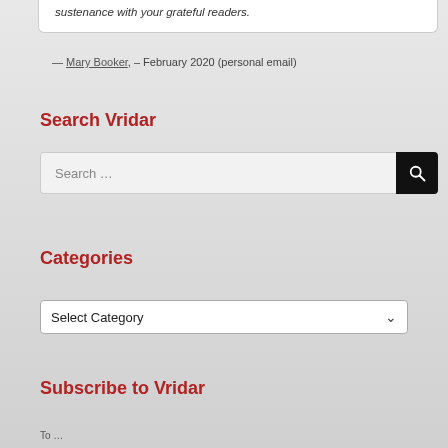sustenance with your grateful readers.
— Mary Booker, – February 2020 (personal email)
Search Vridar
[Figure (screenshot): Search input box with black search button icon on the right]
Categories
[Figure (screenshot): Select Category dropdown box]
Subscribe to Vridar
To...